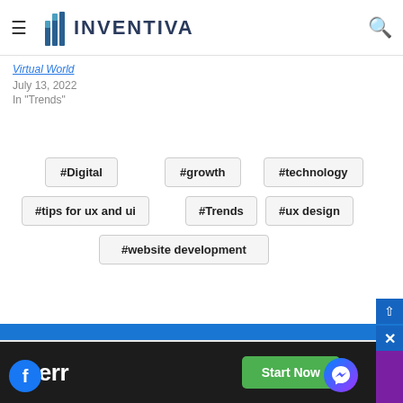[Figure (logo): Inventiva logo with hamburger menu and search icon in page header]
Virtual World
July 13, 2022
In "Trends"
#Digital
#growth
#technology
#tips for ux and ui
#Trends
#ux design
#website development
[Figure (screenshot): Fiverr advertisement banner at bottom with Start Now button]